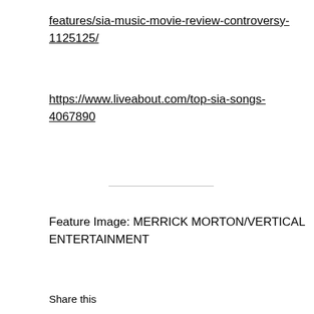features/sia-music-movie-review-controversy-1125125/
https://www.liveabout.com/top-sia-songs-4067890
Feature Image: MERRICK MORTON/VERTICAL ENTERTAINMENT
Share this